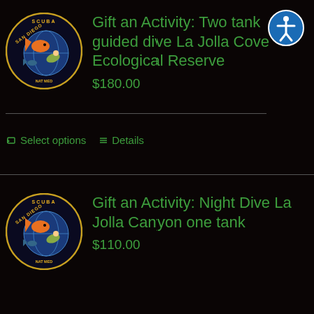[Figure (logo): Scuba San Diego circular logo with diver and fish on dark blue globe background]
Gift an Activity: Two tank guided dive La Jolla Cove Ecological Reserve
$180.00
Select options
Details
[Figure (logo): Scuba San Diego circular logo with diver and fish on dark blue globe background]
Gift an Activity: Night Dive La Jolla Canyon one tank
$110.00